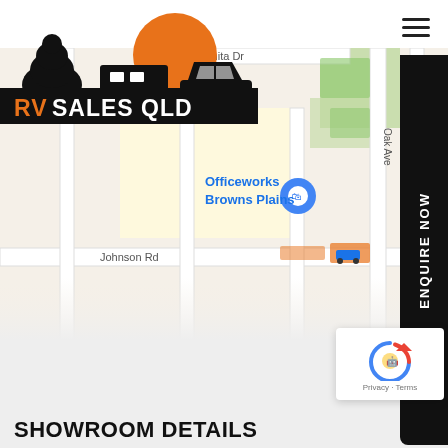[Figure (logo): RV Sales QLD logo with tree silhouette, orange circle sun, caravan and car, on black badge with orange and white text]
[Figure (map): Google Maps screenshot showing Browns Plains area with Johnson Rd, Janita Dr, Oak Ave, Officeworks Browns Plains marker]
[Figure (other): Black vertical sidebar tab with white text ENQUIRE NOW rotated 90 degrees]
[Figure (other): reCAPTCHA widget box with circular arrow logo and Privacy - Terms text]
SHOWROOM DETAILS